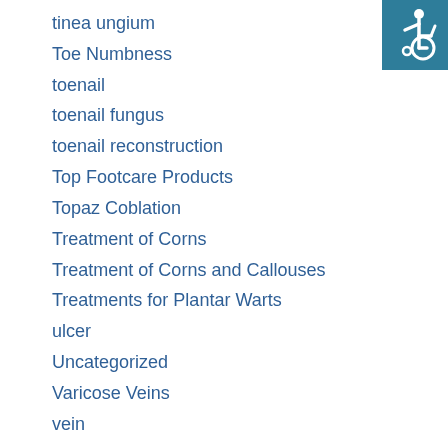tinea ungium
Toe Numbness
toenail
toenail fungus
toenail reconstruction
Top Footcare Products
Topaz Coblation
Treatment of Corns
Treatment of Corns and Callouses
Treatments for Plantar Warts
ulcer
Uncategorized
Varicose Veins
vein
vein disease
Vein Treatments
wart
[Figure (illustration): Wheelchair accessibility icon — white figure in wheelchair on teal/dark cyan background, top right corner]